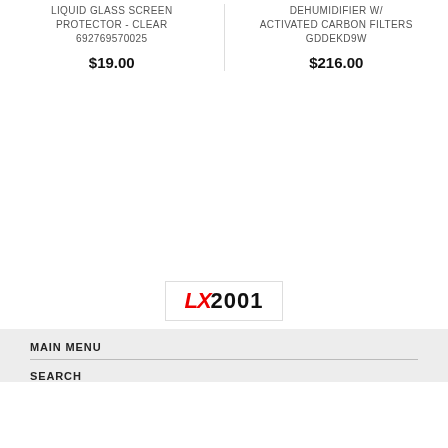LIQUID GLASS SCREEN PROTECTOR - CLEAR
692769570025
$19.00
DEHUMIDIFIER W/ ACTIVATED CARBON FILTERS
GDDEKD9W
$216.00
[Figure (logo): LX2001 logo in red and black text]
MAIN MENU
SEARCH